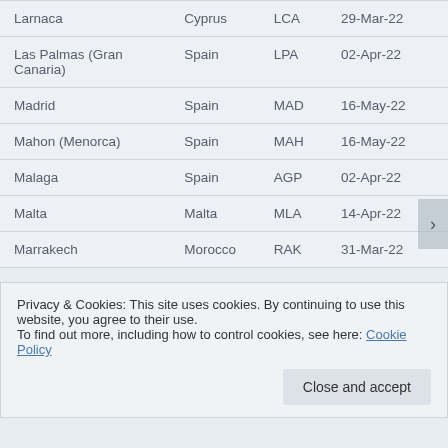| City | Country | Code | Date |
| --- | --- | --- | --- |
| Larnaca | Cyprus | LCA | 29-Mar-22 |
| Las Palmas (Gran Canaria) | Spain | LPA | 02-Apr-22 |
| Madrid | Spain | MAD | 16-May-22 |
| Mahon (Menorca) | Spain | MAH | 16-May-22 |
| Malaga | Spain | AGP | 02-Apr-22 |
| Malta | Malta | MLA | 14-Apr-22 |
| Marrakech | Morocco | RAK | 31-Mar-22 |
Privacy & Cookies: This site uses cookies. By continuing to use this website, you agree to their use. To find out more, including how to control cookies, see here: Cookie Policy